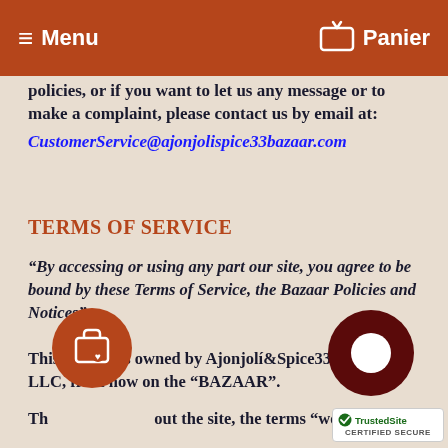Menu | Panier
policies, or if you want to let us any message or to make a complaint, please contact us by email at:
CustomerService@ajonjolispice33bazaar.com
TERMS OF SERVICE
“By accessing or using any part our site, you agree to be bound by these Terms of Service, the Bazaar Policies and Notices”
This website is owned by Ajonjolí&Spice33 Bazaar LLC, from now on the “BAZAAR”.
Throughout the site, the terms “we”, “us” and “our” refer to the Bazaar. The Bazaar offers this website, including all information, tools and services